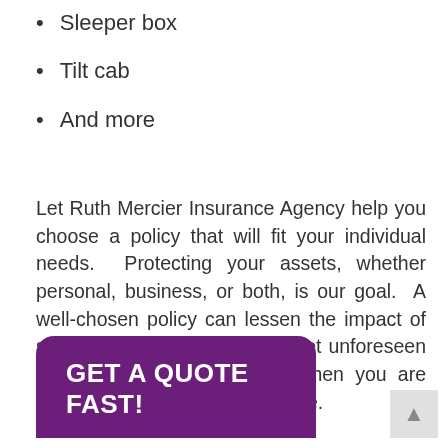Sleeper box
Tilt cab
And more
Let Ruth Mercier Insurance Agency help you choose a policy that will fit your individual needs.  Protecting your assets, whether personal, business, or both, is our goal.  A well-chosen policy can lessen the impact of some of life’s most common, yet unforeseen perils.  We’re here to help when you are considering Box Truck insurance.
GET A QUOTE FAST!